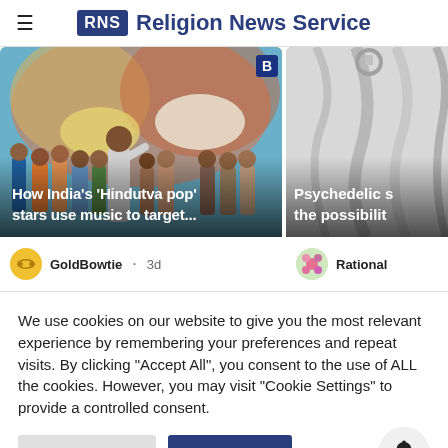RNS Religion News Service
[Figure (screenshot): News card with group of people at a Hindu celebration event, with overlay text: How India's 'Hindutva pop' stars use music to target...]
[Figure (screenshot): News card with close-up of white fabric/clothing hanging, with overlay text: Psychedelic s the possibility]
GoldBowtie · 3d
Rational
We use cookies on our website to give you the most relevant experience by remembering your preferences and repeat visits. By clicking "Accept All", you consent to the use of ALL the cookies. However, you may visit "Cookie Settings" to provide a controlled consent.